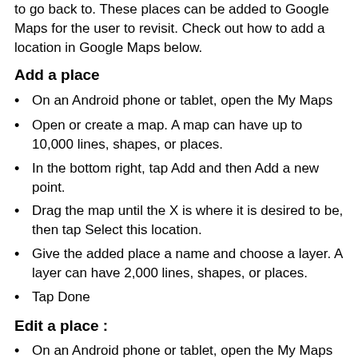to go back to. These places can be added to Google Maps for the user to revisit. Check out how to add a location in Google Maps below.
Add a place
On an Android phone or tablet, open the My Maps
Open or create a map. A map can have up to 10,000 lines, shapes, or places.
In the bottom right, tap Add and then Add a new point.
Drag the map until the X is where it is desired to be, then tap Select this location.
Give the added place a name and choose a layer. A layer can have 2,000 lines, shapes, or places.
Tap Done
Edit a place :
On an Android phone or tablet, open the My Maps app